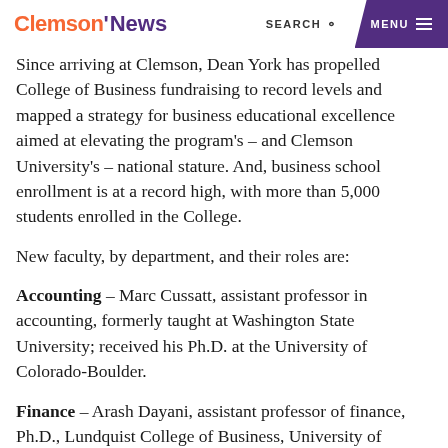Clemson News | SEARCH | MENU
Since arriving at Clemson, Dean York has propelled College of Business fundraising to record levels and mapped a strategy for business educational excellence aimed at elevating the program's – and Clemson University's – national stature. And, business school enrollment is at a record high, with more than 5,000 students enrolled in the College.
New faculty, by department, and their roles are:
Accounting – Marc Cussatt, assistant professor in accounting, formerly taught at Washington State University; received his Ph.D. at the University of Colorado-Boulder.
Finance – Arash Dayani, assistant professor of finance, Ph.D., Lundquist College of Business, University of Oregon; Taufique Samdani, clinical assistant professor of finance,